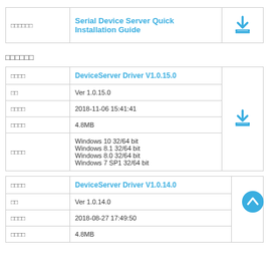| (label) | (title) | (icon) |
| --- | --- | --- |
| □□□□□□ | Serial Device Server Quick Installation Guide | (download icon) |
□□□□□□
| (label) | (value) | (icon) |
| --- | --- | --- |
| □□□□ | DeviceServer Driver V1.0.15.0 |  |
| □□ | Ver 1.0.15.0 |  |
| □□□□ | 2018-11-06 15:41:41 |  |
| □□□□ | 4.8MB | (download icon) |
| □□□□ | Windows 10 32/64 bit
Windows 8.1 32/64 bit
Windows 8.0 32/64 bit
Windows 7 SP1 32/64 bit |  |
| (label) | (value) | (icon) |
| --- | --- | --- |
| □□□□ | DeviceServer Driver V1.0.14.0 |  |
| □□ | Ver 1.0.14.0 |  |
| □□□□ | 2018-08-27 17:49:50 |  |
| □□□□ | 4.8MB | (download icon) |